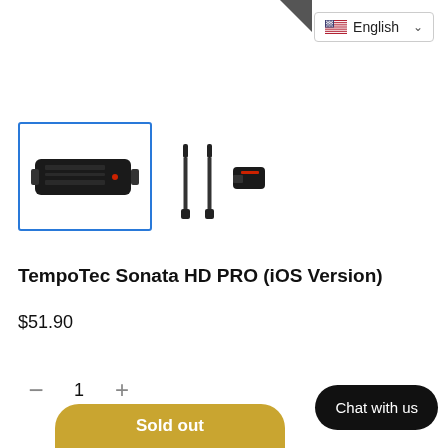[Figure (screenshot): Language selector dropdown showing US flag and 'English' text with chevron]
[Figure (photo): Product thumbnail: TempoTec Sonata HD PRO device (black rectangular dongle DAC), selected with blue border]
[Figure (photo): Secondary product thumbnail: two cables and a small USB dongle accessory]
TempoTec Sonata HD PRO (iOS Version)
$51.90
1
Sold out
Chat with us